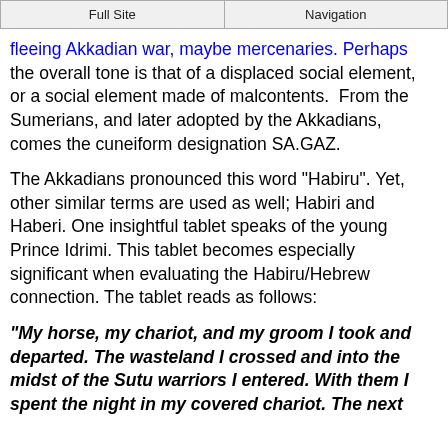Full Site | Navigation
fleeing Akkadian war, maybe mercenaries. Perhaps the overall tone is that of a displaced social element, or a social element made of malcontents.  From the Sumerians, and later adopted by the Akkadians, comes the cuneiform designation SA.GAZ.
The Akkadians pronounced this word "Habiru". Yet, other similar terms are used as well; Habiri and Haberi. One insightful tablet speaks of the young Prince Idrimi. This tablet becomes especially significant when evaluating the Habiru/Hebrew connection. The tablet reads as follows:
"My horse, my chariot, and my groom I took and departed. The wasteland I crossed and into the midst of the Sutu warriors I entered. With them I spent the night in my covered chariot. The next